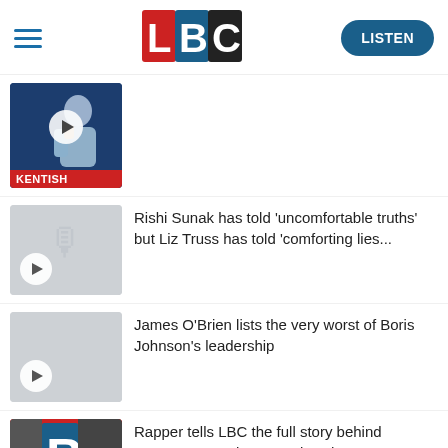[Figure (logo): LBC radio logo with hamburger menu and LISTEN button]
[Figure (photo): Thumbnail of KENTISH presenter with play button and red KENTISH badge]
[Figure (photo): Gray thumbnail with play button]
Rishi Sunak has told ‘uncomfortable truths’ but Liz Truss has told ‘comforting lies...
[Figure (photo): Gray thumbnail with play button]
James O’Brien lists the very worst of Boris Johnson’s leadership
[Figure (photo): LBC logo thumbnail]
Rapper tells LBC the full story behind ‘Wagwan’ greeting to Boris Johnson